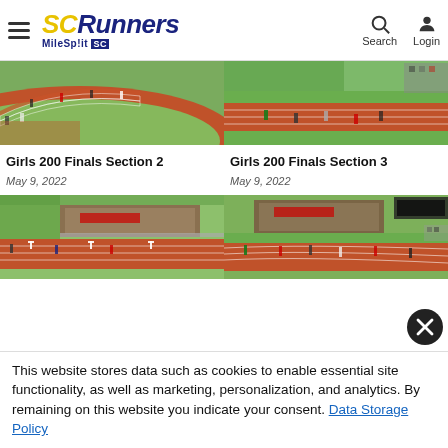SCRunners MileSplit SC — Search Login
[Figure (photo): Track and field photo for Girls 200 Finals Section 2]
Girls 200 Finals Section 2
May 9, 2022
[Figure (photo): Track and field photo for Girls 200 Finals Section 3]
Girls 200 Finals Section 3
May 9, 2022
[Figure (photo): Track and field photo (bottom left)]
[Figure (photo): Track and field photo (bottom right)]
This website stores data such as cookies to enable essential site functionality, as well as marketing, personalization, and analytics. By remaining on this website you indicate your consent. Data Storage Policy